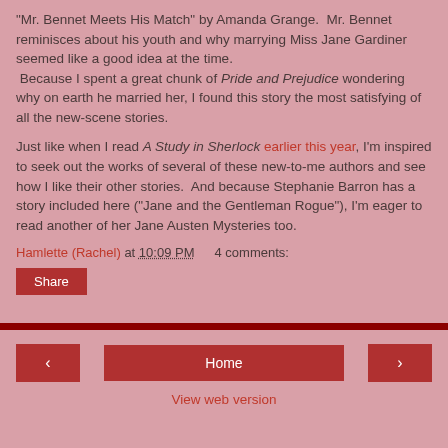"Mr. Bennet Meets His Match" by Amanda Grange.  Mr. Bennet reminisces about his youth and why marrying Miss Jane Gardiner seemed like a good idea at the time.  Because I spent a great chunk of Pride and Prejudice wondering why on earth he married her, I found this story the most satisfying of all the new-scene stories.
Just like when I read A Study in Sherlock earlier this year, I'm inspired to seek out the works of several of these new-to-me authors and see how I like their other stories.  And because Stephanie Barron has a story included here ("Jane and the Gentleman Rogue"), I'm eager to read another of her Jane Austen Mysteries too.
Hamlette (Rachel) at 10:09 PM   4 comments:
Share
< | Home | > | View web version